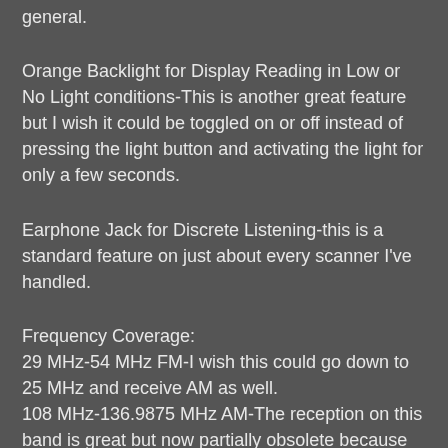general.
Orange Backlight for Display Reading in Low or No Light conditions-This is another great feature but I wish it could be toggled on or off instead of pressing the light button and activating the light for only a few seconds.
Earphone Jack for Discrete Listening-this is a standard feature on just about every scanner I've handled.
Frequency Coverage:
29 MHz-54 MHz FM-I wish this could go down to 25 MHz and receive AM as well.
108 MHz-136.9875 MHz AM-The reception on this band is great but now partially obsolete because this band has narrowed down to 8.33 kHz steps as opposed to 12.5 kHz steps.
137 MHz-174 MHz FM-I wish the lower portions of this